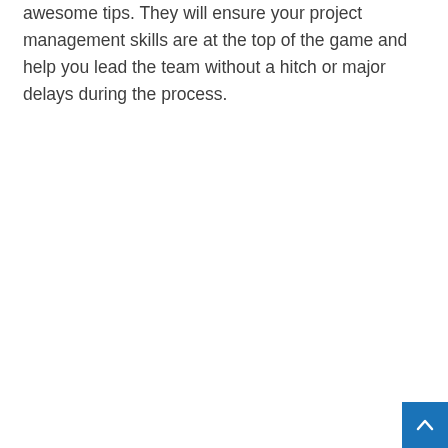awesome tips. They will ensure your project management skills are at the top of the game and help you lead the team without a hitch or major delays during the process.